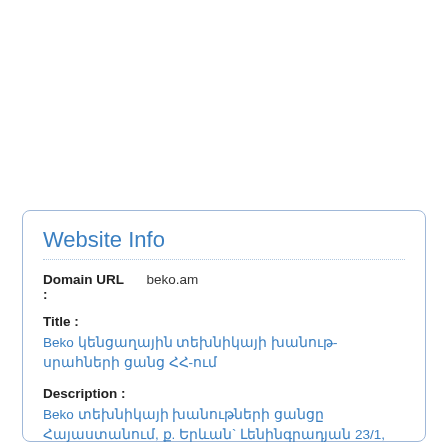Website Info
Domain URL : beko.am
Title :
Beko կենցաղային տեխնիկայի խանութ-սրահների ցանց ՀՀ-ում
Description :
Beko տեխնիկայի խանութների ցանցը Հայաստանում, ք. Երևան` Լենինգրադյան 23/1, Սայաթ-Նովա 40, Արզավkandi խbniuh